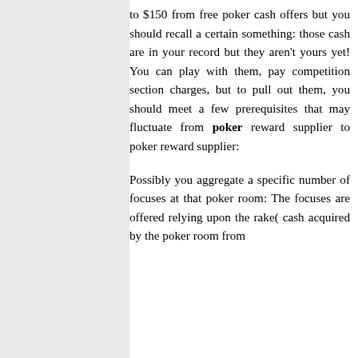to $150 from free poker cash offers but you should recall a certain something: those cash are in your record but they aren't yours yet! You can play with them, pay competition section charges, but to pull out them, you should meet a few prerequisites that may fluctuate from poker reward supplier to poker reward supplier:
Possibly you aggregate a specific number of focuses at that poker room: The focuses are offered relying upon the rake( cash acquired by the poker room from